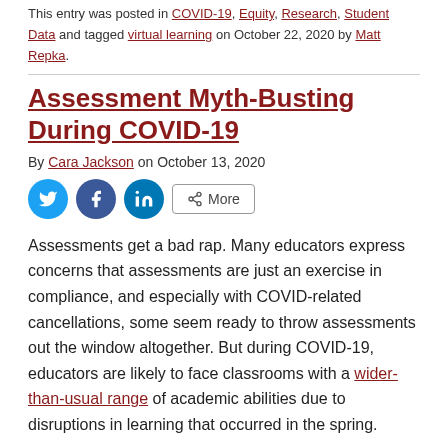This entry was posted in COVID-19, Equity, Research, Student Data and tagged virtual learning on October 22, 2020 by Matt Repka.
Assessment Myth-Busting During COVID-19
By Cara Jackson on October 13, 2020
[Figure (other): Social sharing buttons: Twitter, Facebook, LinkedIn, and More]
Assessments get a bad rap. Many educators express concerns that assessments are just an exercise in compliance, and especially with COVID-related cancellations, some seem ready to throw assessments out the window altogether. But during COVID-19, educators are likely to face classrooms with a wider-than-usual range of academic abilities due to disruptions in learning that occurred in the spring.
Assessments are not all the…